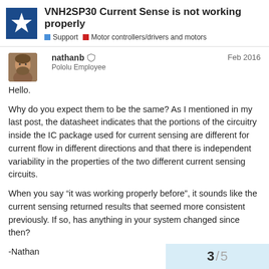VNH2SP30 Current Sense is not working properly | Support | Motor controllers/drivers and motors
nathanb
Pololu Employee
Feb 2016
Hello.
Why do you expect them to be the same? As I mentioned in my last post, the datasheet indicates that the portions of the circuitry inside the IC package used for current sensing are different for current flow in different directions and that there is independent variability in the properties of the two different current sensing circuits.
When you say “it was working properly before”, it sounds like the current sensing returned results that seemed more consistent previously. If so, has anything in your system changed since then?
-Nathan